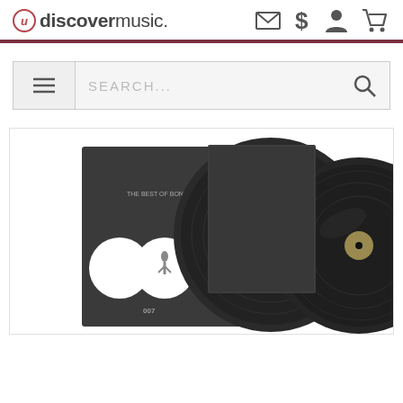udiscovermusic.
[Figure (screenshot): Website search bar with hamburger menu icon on the left, SEARCH... placeholder text, and magnifying glass icon on the right]
[Figure (photo): Product photo of The Best of Bond...James Bond vinyl record set, showing album sleeve and two vinyl records fanned out against white background]